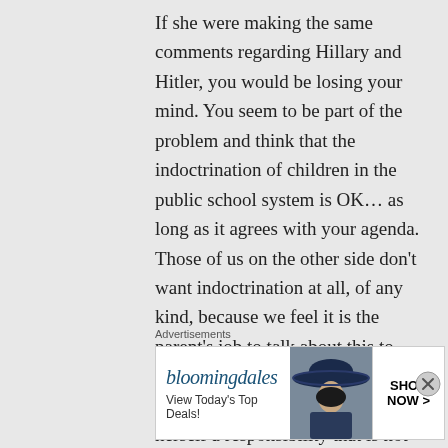If she were making the same comments regarding Hillary and Hitler, you would be losing your mind. You seem to be part of the problem and think that the indoctrination of children in the public school system is OK… as long as it agrees with your agenda. Those of us on the other side don't want indoctrination at all, of any kind, because we feel it is the parent's job to talk about this to the student, not that of the public school. Ms. Harder has taken upon herself a responsibility that is not hers. The fact that her comments may be
Advertisements
[Figure (other): Bloomingdale's advertisement banner: logo text 'bloomingdales', tagline 'View Today's Top Deals!', image of woman in wide-brim hat, button 'SHOP NOW >']